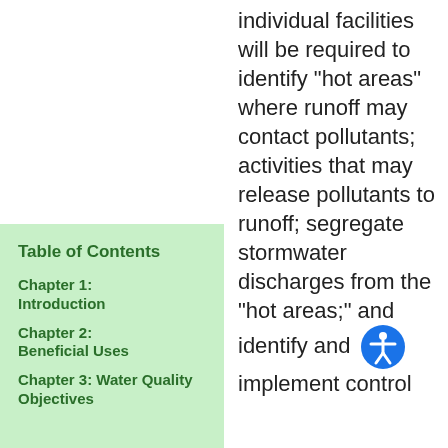individual facilities will be required to identify "hot areas" where runoff may contact pollutants; activities that may release pollutants to runoff; segregate stormwater discharges from the "hot areas;" and identify and implement control
Table of Contents
Chapter 1: Introduction
Chapter 2: Beneficial Uses
Chapter 3: Water Quality Objectives